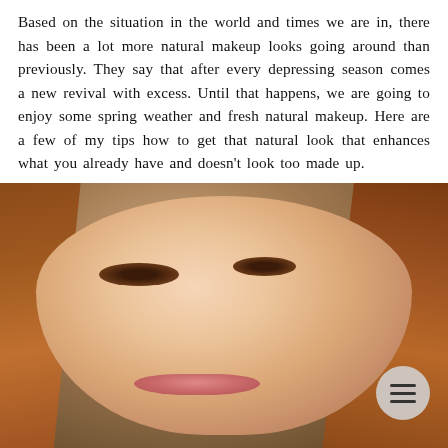Based on the situation in the world and times we are in, there has been a lot more natural makeup looks going around than previously. They say that after every depressing season comes a new revival with excess. Until that happens, we are going to enjoy some spring weather and fresh natural makeup. Here are a few of my tips how to get that natural look that enhances what you already have and doesn't look too made up.
[Figure (photo): Close-up photo of a young woman with long straight auburn/red-brown hair, wearing natural makeup — defined brows, mascara-lengthened lashes, subtle eye makeup, and a soft pink lip color. She has a gentle smile and fair skin. A circular hamburger-menu icon (three horizontal lines) is overlaid in the lower-right corner of the photo.]